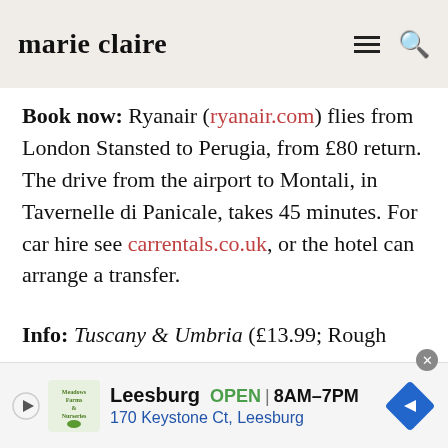marie claire
Book now: Ryanair (ryanair.com) flies from London Stansted to Perugia, from £80 return. The drive from the airport to Montali, in Tavernelle di Panicale, takes 45 minutes. For car hire see carrentals.co.uk, or the hotel can arrange a transfer.
Info: Tuscany & Umbria (£13.99; Rough Guides) covers the region, useful websites are
[Figure (infographic): Advertisement banner: Meadows Farms Nurseries ad for Leesburg location, OPEN 8AM-7PM, 170 Keystone Ct, Leesburg, with navigation arrow icon]